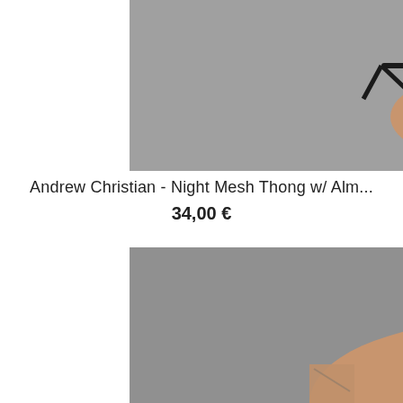[Figure (photo): Male model wearing black night mesh thong with strappy harness detail, photographed against grey background, cropped to torso/lower body]
Andrew Christian - Night Mesh Thong w/ Alm...
34,00 €
[Figure (photo): Male model with tattoos, shirtless, photographed from chest up against grey background, looking at camera]